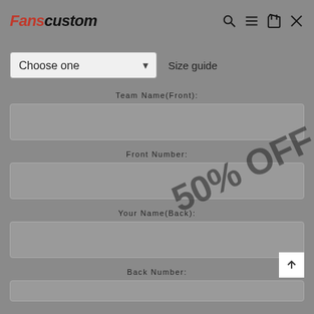Fanscustom — navigation with search, menu, and cart icons
Choose one  Size guide
Team Name(Front):
[Figure (other): 50% OFF watermark text overlaid diagonally on the form]
Front Number:
Your Name(Back):
Back Number: